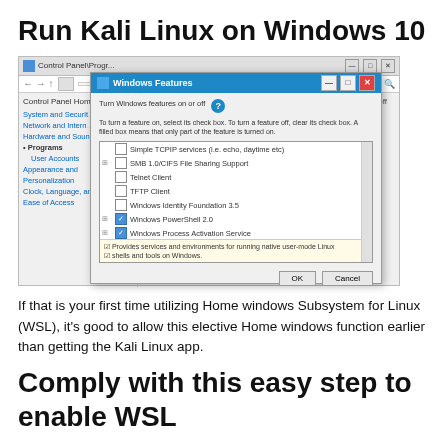Run Kali Linux on Windows 10
[Figure (screenshot): Windows 10 Control Panel and 'Windows Features' dialog box showing a list of features with 'Windows Subsystem for Linux' highlighted/checked. The dialog has OK and Cancel buttons.]
If that is your first time utilizing Home windows Subsystem for Linux (WSL), it's good to allow this elective Home windows function earlier than getting the Kali Linux app.
Comply with this easy step to enable WSL